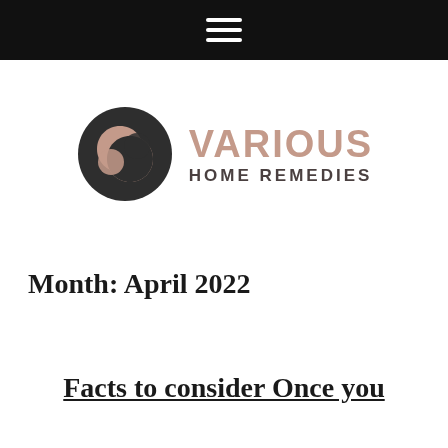[Figure (logo): Various Home Remedies logo with a circular dark/mauve symbol and text 'VARIOUS HOME REMEDIES']
Month: April 2022
Facts to consider Once you